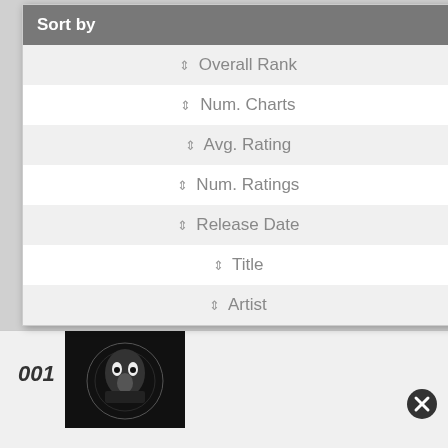Sort by
Overall Rank
Num. Charts
Avg. Rating
Num. Ratings
Release Date
Title
Artist
001
[Figure (photo): Black and white album cover photo showing a face and circular design]